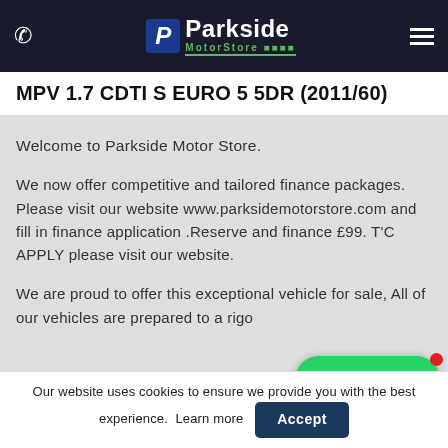Parkside MotorStore
MPV 1.7 CDTI S EURO 5 5DR (2011/60)
Welcome to Parkside Motor Store.
We now offer competitive and tailored finance packages. Please visit our website www.parksidemotorstore.com and fill in finance application .Reserve and finance £99. T'C APPLY please visit our website.
We are proud to offer this exceptional vehicle for sale, All of our vehicles are prepared to a rigo
[Figure (screenshot): WhatsApp chat button overlay]
Our website uses cookies to ensure we provide you with the best experience. Learn more Accept